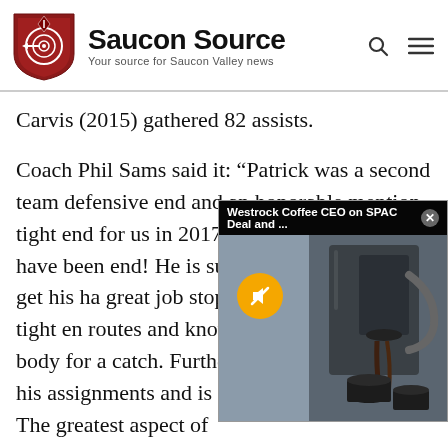Saucon Source — Your source for Saucon Valley news
Carvis (2015) gathered 82 assists.
Coach Phil Sams said it: “Patrick was a second team defensive end and an honorable mention tight end for us in 2017. Patrick is He should have been end! He is such a grea and how, to get his ha great job stopping the attention as a tight en routes and knows how to position his body for a catch. Furthermore, he knows all of his assignments and is an imposing blocker. The greatest aspect of
[Figure (screenshot): Video ad overlay showing 'Westrock Coffee CEO on SPAC Deal and ...' with an X close button, a coffee machine image, and a muted/unmuted speaker icon button in gold]